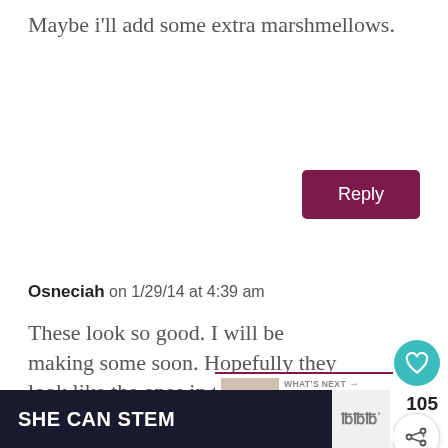Maybe i'll add some extra marshmellows.
[Figure (other): Purple Reply button]
Osneciah on 1/29/14 at 4:39 am
These look so good. I will be making some soon. Hopefully they look like the ones in the photo.
[Figure (other): Heart/like button with teal circle icon, count 105, and share button]
[Figure (other): What's Next panel showing Chocolate Nutella Cake with thumbnail image]
[Figure (other): SHE CAN STEM advertisement banner at bottom]